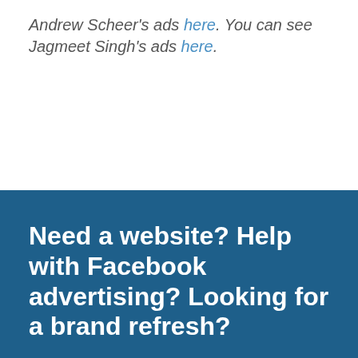Andrew Scheer's ads here. You can see Jagmeet Singh's ads here.
Need a website? Help with Facebook advertising? Looking for a brand refresh?